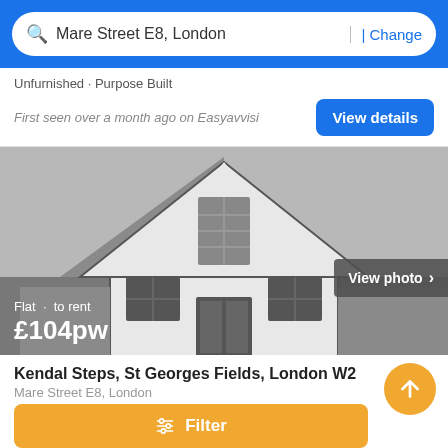Mare Street E8, London | Change
Unfurnished · Purpose Built
First seen over a month ago on Easyavvisi
[Figure (illustration): Generic house placeholder illustration in grayscale with 'View photo' button overlay and price overlay showing 'Flat · to rent £104pw']
Flat · to rent
£104pw
Kendal Steps, St Georges Fields, London W2
Mare Street E8, London
1 Bedroom  1 Bath
Parking
Filter